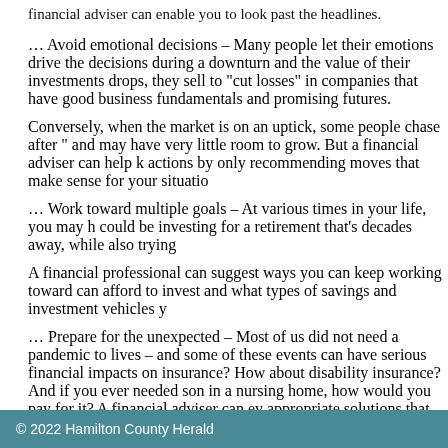financial adviser can enable you to look past the headlines.
… Avoid emotional decisions – Many people let their emotions drive the decisions during a downturn and the value of their investments drops, they sell to "cut losses" in companies that have good business fundamentals and promising futures.
Conversely, when the market is on an uptick, some people chase after "hot" investments that and may have very little room to grow. But a financial adviser can help keep you from such actions by only recommending moves that make sense for your situation.
… Work toward multiple goals – At various times in your life, you may have multiple goals. You could be investing for a retirement that's decades away, while also trying
A financial professional can suggest ways you can keep working toward all your goals — how much you can afford to invest and what types of savings and investment vehicles y
… Prepare for the unexpected – Most of us did not need a pandemic to know that unexpected events occur in our lives – and some of these events can have serious financial impacts on our lives. Do you have enough life insurance? How about disability insurance? And if you ever needed some form of long-term care, such as staying in a nursing home, how would you pay for it? A financial adviser can evaluate your needs and suggest appropriate solutions that fit within your overall financial strategy.
… Adapt to changing circumstances – Over time, many things may change in your life — your income, your family, your retirement plans and so on. A financial professional can help you adjust.
Achieving your financial goals may present challenges, but it doesn't have to be overwhelming — as long as you get the help you need.
© 2022 Hamilton County Herald